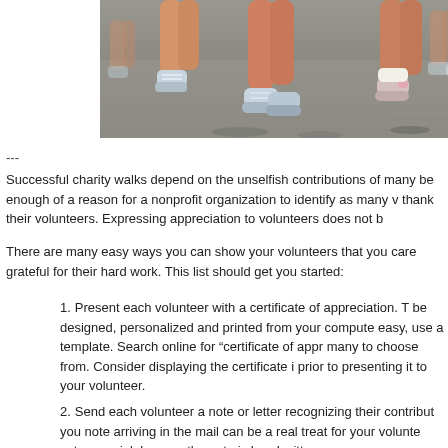[Figure (photo): Close-up photo of runners' legs and athletic shoes on pavement during a charity walk or race]
---
Successful charity walks depend on the unselfish contributions of many be enough of a reason for a nonprofit organization to identify as many v thank their volunteers. Expressing appreciation to volunteers does not b
There are many easy ways you can show your volunteers that you care grateful for their hard work. This list should get you started:
Present each volunteer with a certificate of appreciation. T be designed, personalized and printed from your compute easy, use a template. Search online for “certificate of appr many to choose from. Consider displaying the certificate i prior to presenting it to your volunteer.
Send each volunteer a note or letter recognizing their contribut you note arriving in the mail can be a real treat for your volunte extra special, be sure the note is handwritten.